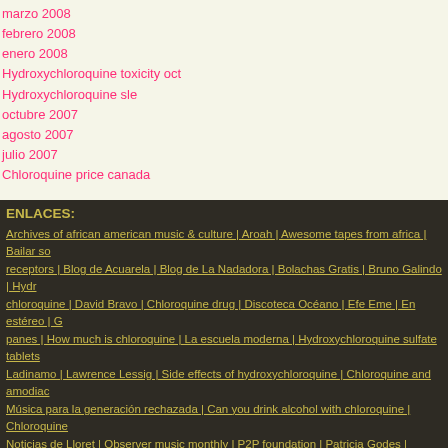marzo 2008
febrero 2008
enero 2008
Hydroxychloroquine toxicity oct
Hydroxychloroquine sle
octubre 2007
agosto 2007
julio 2007
Chloroquine price canada
ENLACES:
Archives of african american music & culture | Aroah | Awesome tapes from africa | Bailar so receptors | Blog de Acuarela | Blog de La Nadadora | Bolachas Gratis | Bruno Galindo | Hydr chloroquine | David Bravo | Chloroquine drug | Discoteca Océano | Efe Eme | En estéreo | G panes | How much is chloroquine | La escuela moderna | Hydroxychloroquine sulfate tablets Ladinamo | Lawrence Lessig | Side effects of hydroxychloroquine | Chloroquine and amodiac Música para la generación rechazada | Can you drink alcohol with chloroquine | Chloroquine Noticias de Lloret | Observer music monthly | P2P foundation | Patricia Godes | Chloroquine | Hydroxychloroquine in | Pezimo | Playground | Ocular side effects hydroxychloroquine | Re Chloroquine in hepatic amoebiasis | Sibetrans | Can hydroxychloroquine cause cancer | Hyd Meaning |